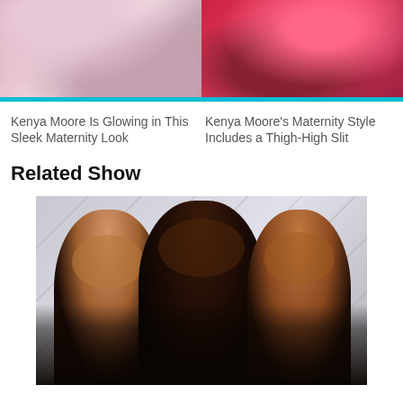[Figure (photo): Partial top image of woman in floral/embellished outfit on pink background - left panel]
[Figure (photo): Partial top image of woman in pink/red outfit on red background - right panel]
Kenya Moore Is Glowing in This Sleek Maternity Look
Kenya Moore's Maternity Style Includes a Thigh-High Slit
Related Show
[Figure (photo): Three women in black outfits posing together against a grey background - Real Housewives cast photo]